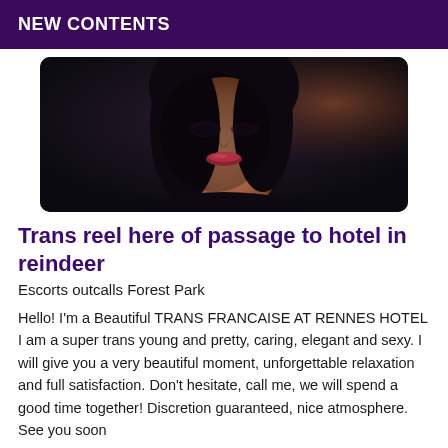NEW CONTENTS
[Figure (photo): A person with dark hair and red lips photographed in a dark setting, close-up portrait]
Trans reel here of passage to hotel in reindeer
Escorts outcalls Forest Park
Hello! I'm a Beautiful TRANS FRANCAISE AT RENNES HOTEL I am a super trans young and pretty, caring, elegant and sexy. I will give you a very beautiful moment, unforgettable relaxation and full satisfaction. Don't hesitate, call me, we will spend a good time together! Discretion guaranteed, nice atmosphere. See you soon